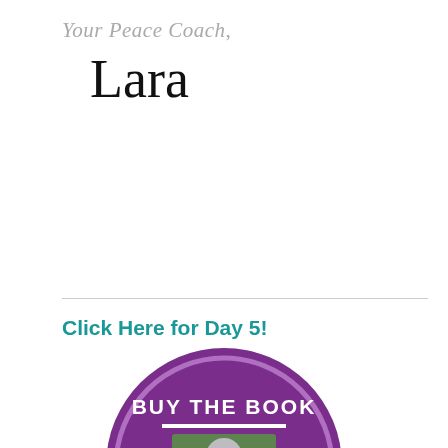Your Peace Coach,
Lara
Click Here for Day 5!
[Figure (illustration): Purple circular badge/button with 'BUY THE BOOK' text in white bold letters, a white horizontal line beneath, and a green book cover image with a spoon and 'PEACE' text. Overlaid with a Photobucket watermark/placeholder image.]